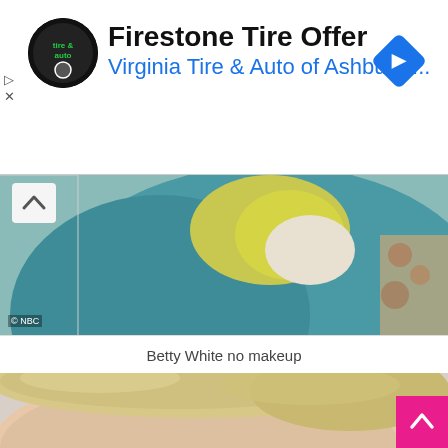[Figure (screenshot): Advertisement banner for Firestone Tire Offer / Virginia Tire & Auto of Ashburn with circular logo and blue diamond navigation icon]
Firestone Tire Offer
Virginia Tire & Auto of Ashburn ...
[Figure (photo): Partial photo of a person in a teal/blue jacket with a yellow scarf, NBC watermark in corner]
Betty White no makeup
[Figure (photo): Close-up photo of an elderly person's forehead and closed eyes with light/blonde hair]